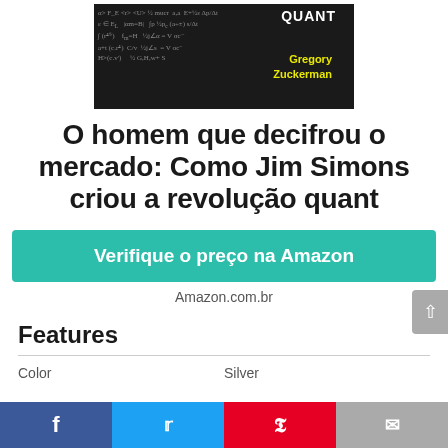[Figure (photo): Book cover of 'Quant' by Gregory Zuckerman, dark background with mathematical equations, author name in yellow text]
O homem que decifrou o mercado: Como Jim Simons criou a revolução quant
Verifique o preço na Amazon
Amazon.com.br
Features
Color    Silver